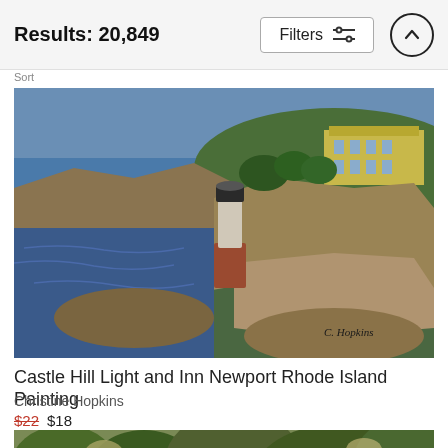Results: 20,849
Filters
Sort
[Figure (illustration): Painting of Castle Hill Lighthouse on rocky coast of Newport Rhode Island with blue water and a yellow building on the hill in the background. Signed 'C. Hopkins' in lower right.]
Castle Hill Light and Inn Newport Rhode Island Painting
Christine Hopkins
$22 $18
[Figure (illustration): Partial view of another painting showing green foliage and garden scene.]